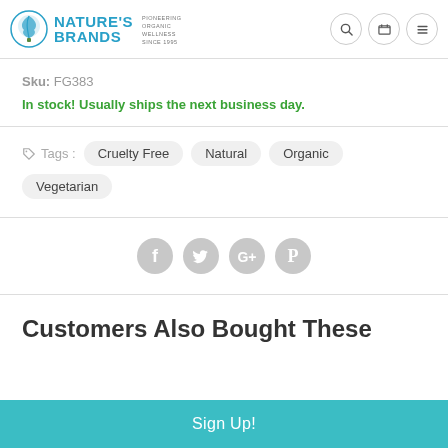Nature's Brands — Pioneering Organic Wellness Since 1995
Sku: FG383
In stock! Usually ships the next business day.
Tags : Cruelty Free | Natural | Organic | Vegetarian
[Figure (infographic): Social sharing icons: Facebook, Twitter, Google+, Pinterest]
Customers Also Bought These
Sign Up!